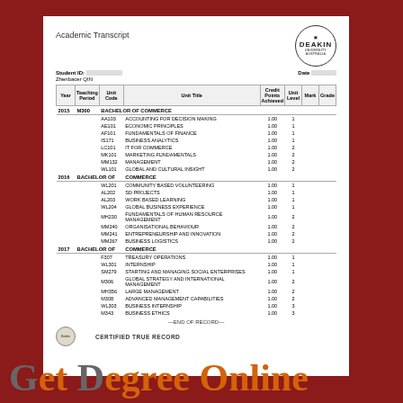Academic Transcript
[Figure (logo): Deakin University Australia circular logo]
Student ID:
Date
Zhenbacer QIN
| Year | Teaching Period | Unit Code | Unit Title | Credit Points Achieved | Unit Level | Mark | Grade |
| --- | --- | --- | --- | --- | --- | --- | --- |
| 2015 | M300 | AA103 | ACCOUNTING FOR DECISION MAKING | 1.00 | 1 |  |  |
|  |  | AE101 | ECONOMIC PRINCIPLES | 1.00 | 1 |  |  |
|  |  | AF101 | FUNDAMENTALS OF FINANCE | 1.00 | 1 |  |  |
|  |  | IS171 | BUSINESS ANALYTICS | 1.00 | 1 |  |  |
|  |  | LC101 | IT FOR COMMERCE | 1.00 | 2 |  |  |
|  |  | MK101 | MARKETING FUNDAMENTALS | 1.00 | 2 |  |  |
|  |  | MM132 | MANAGEMENT | 1.00 | 2 |  |  |
|  |  | WL101 | GLOBAL AND CULTURAL INSIGHT | 1.00 | 2 |  |  |
| 2016 |  | BACHELOR OF COMMERCE |  |  |  |  |  |
|  |  | WL201 | COMMUNITY BASED VOLUNTEERING | 1.00 | 1 |  |  |
|  |  | AL202 | SD PROJECTS | 1.00 | 1 |  |  |
|  |  | AL203 | WORK BASED LEARNING | 1.00 | 1 |  |  |
|  |  | WL204 | GLOBAL BUSINESS EXPERIENCE | 1.00 | 1 |  |  |
|  |  | MH230 | FUNDAMENTALS OF HUMAN RESOURCE MANAGEMENT | 1.00 | 2 |  |  |
|  |  | MM240 | ORGANISATIONAL BEHAVIOUR | 1.00 | 2 |  |  |
|  |  | MM241 | ENTREPRENEURSHIP AND INNOVATION | 1.00 | 2 |  |  |
|  |  | MM267 | BUSINESS LOGISTICS | 1.00 | 2 |  |  |
| 2017 |  | BACHELOR OF COMMERCE |  |  |  |  |  |
|  |  | F307 | TREASURY OPERATIONS | 1.00 | 1 |  |  |
|  |  | WL301 | INTERNSHIP | 1.00 | 1 |  |  |
|  |  | SM279 | STARTING AND MANAGING SOCIAL ENTERPRISES | 1.00 | 1 |  |  |
|  |  | M306 | GLOBAL STRATEGY AND INTERNATIONAL MANAGEMENT | 1.00 | 2 |  |  |
|  |  | MH356 | LARGE MANAGEMENT | 1.00 | 2 |  |  |
|  |  | M308 | ADVANCED MANAGEMENT CAPABILITIES | 1.00 | 2 |  |  |
|  |  | WL303 | BUSINESS INTERNSHIP | 1.00 | 3 |  |  |
|  |  | M343 | BUSINESS ETHICS | 1.00 | 3 |  |  |
—END OF RECORD—
CERTIFIED TRUE RECORD
[Figure (other): Get Degree Online watermark text overlay at bottom of page]